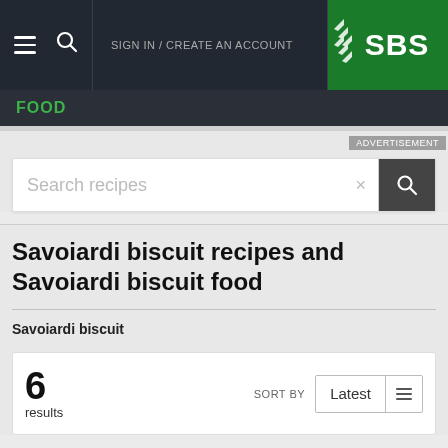[Figure (screenshot): SBS website navigation bar with hamburger menu, search icon, SIGN IN / CREATE AN ACCOUNT text, and SBS logo on green background]
FOOD
ADVERTISEMENT
Search recipes
Savoiardi biscuit recipes and Savoiardi biscuit food
Savoiardi biscuit
6 results  SORT BY  Latest